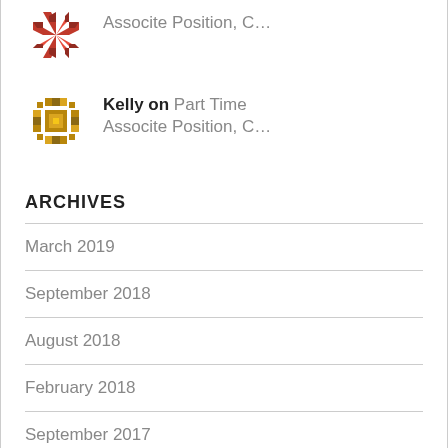[Figure (illustration): Red mosaic/pinwheel avatar icon for a commenter]
Associte Position, C...
[Figure (illustration): Gold/olive geometric square pattern avatar icon for Kelly]
Kelly on Part Time Associte Position, C...
ARCHIVES
March 2019
September 2018
August 2018
February 2018
September 2017
August 2017